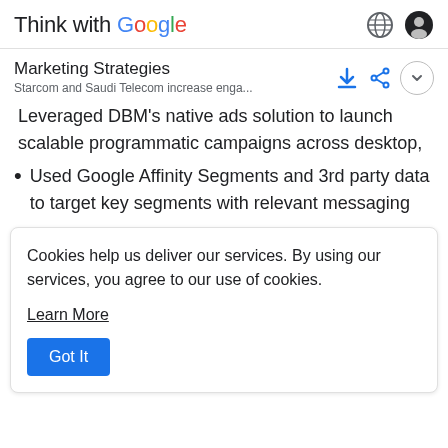Think with Google
Marketing Strategies
Starcom and Saudi Telecom increase enga...
Leveraged DBM's native ads solution to launch scalable programmatic campaigns across desktop, the mobile web, and apps
Used Google Affinity Segments and 3rd party data to target key segments with relevant messaging
Cookies help us deliver our services. By using our services, you agree to our use of cookies.
Learn More
Got It